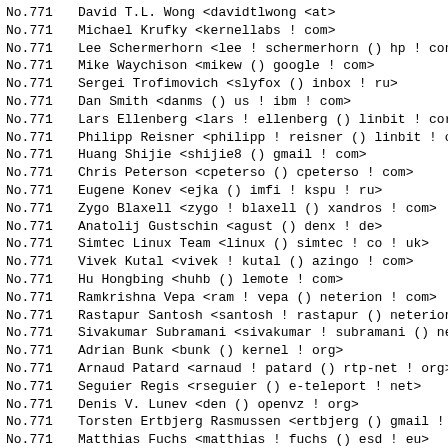No.771   David T.L. Wong <davidtlwong <at>
No.771   Michael Krufky <kernellabs ! com>
No.771   Lee Schermerhorn <lee ! schermerhorn () hp ! com
No.771   Mike Waychison <mikew () google ! com>
No.771   Sergei Trofimovich <slyfox () inbox ! ru>
No.771   Dan Smith <danms () us ! ibm ! com>
No.771   Lars Ellenberg <lars ! ellenberg () linbit ! com
No.771   Philipp Reisner <philipp ! reisner () linbit ! c
No.771   Huang Shijie <shijie8 () gmail ! com>
No.771   Chris Peterson <cpeterso () cpeterso ! com>
No.771   Eugene Konev <ejka () imfi ! kspu ! ru>
No.771   Zygo Blaxell <zygo ! blaxell () xandros ! com>
No.771   Anatolij Gustschin <agust () denx ! de>
No.771   Simtec Linux Team <linux () simtec ! co ! uk>
No.771   Vivek Kutal <vivek ! kutal () azingo ! com>
No.771   Hu Hongbing <huhb () lemote ! com>
No.771   Ramkrishna Vepa <ram ! vepa () neterion ! com>
No.771   Rastapur Santosh <santosh ! rastapur () neterion
No.771   Sivakumar Subramani <sivakumar ! subramani () ne
No.771   Adrian Bunk <bunk () kernel ! org>
No.771   Arnaud Patard <arnaud ! patard () rtp-net ! org>
No.771   Seguier Regis <rseguier () e-teleport ! net>
No.771   Denis V. Lunev <den () openvz ! org>
No.771   Torsten Ertbjerg Rasmussen <ertbjerg () gmail !
No.771   Matthias Fuchs <matthias ! fuchs () esd ! eu>
No.771   Dmitry Rakhchev <rda () emcraft ! com>
No.771   Yuri Tikhonov <yur () emcraft ! com>
No.771   Daniel Silverstone <dsilvers () simtec ! co ! uk
No.771   Evgeniy Dushistov <dushistov () mail ! ru>
No.771   Jose Luis Perez Diez <jluis () escomposlinux !